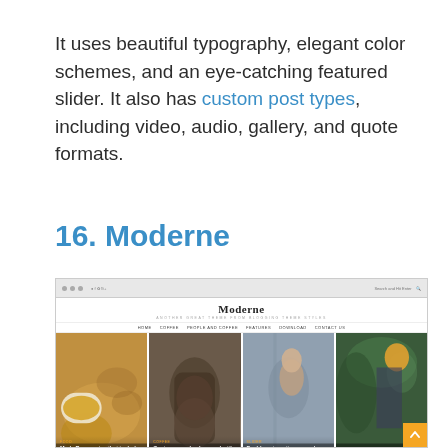It uses beautiful typography, elegant color schemes, and an eye-catching featured slider. It also has custom post types, including video, audio, gallery, and quote formats.
16. Moderne
[Figure (screenshot): Screenshot of the Moderne WordPress theme website showing a browser window with the site title 'Moderne', navigation menu, and a four-column card grid featuring food and lifestyle photography with article titles and read more buttons.]